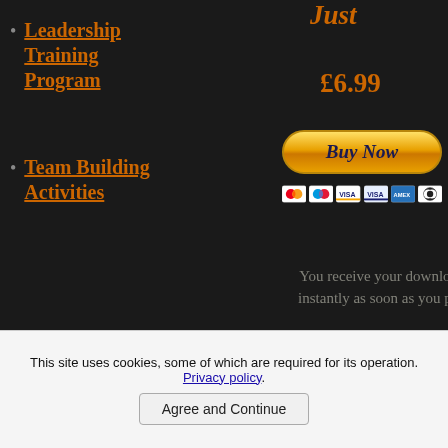Just
Leadership Training Program
Team Building Activities
£6.99
[Figure (screenshot): Buy Now button with PayPal and credit card payment icons (Mastercard, Maestro, Visa, Visa, Amex, Diners Club)]
You receive your download instantly as soon as you pay
don't forget to
This site uses cookies, some of which are required for its operation. Privacy policy.
Agree and Continue